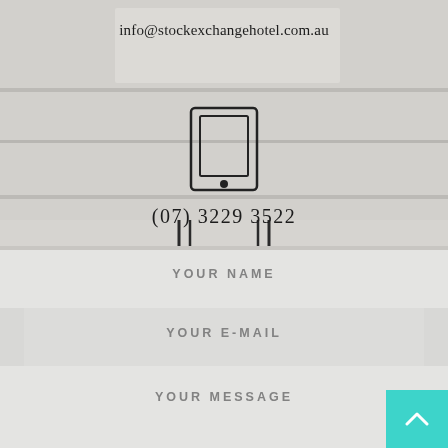info@stockexchangehotel.com.au
[Figure (illustration): Tablet/iPad icon — outline rectangle with rounded corners, inner screen rectangle, and small circle button at bottom center]
(07) 3229 3522
YOUR NAME
YOUR E-MAIL
YOUR MESSAGE